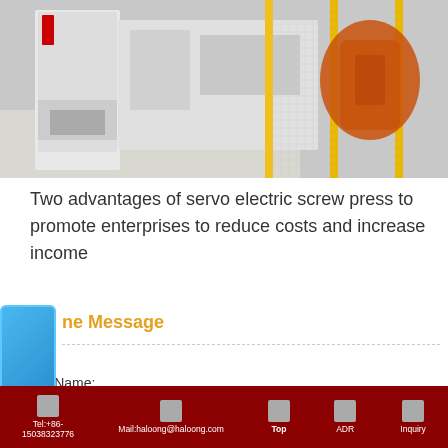[Figure (photo): Industrial manufacturing facility showing a servo electric screw press machine (white/grey) on the left and an orange robotic arm behind a yellow safety mesh/cage on the right. Workers visible in background.]
Two advantages of servo electric screw press to promote enterprises to reduce costs and increase income
在线咨询
ne Message
Your Name:
Tel:+86-15038323776  Mail:haloong@haloong.com  Top  ADR  Inquiry